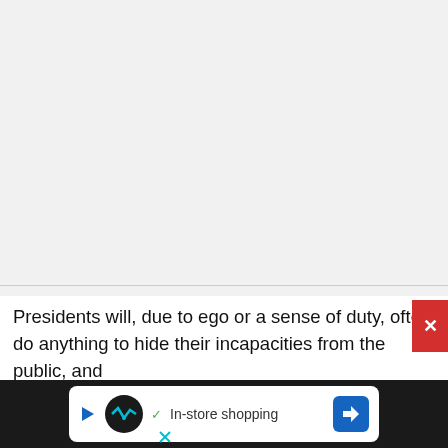[Figure (screenshot): Large blank/empty gray area representing an advertisement or image placeholder at the top of the page]
Presidents will, due to ego or a sense of duty, often do anything to hide their incapacities from the public, and even their own cabinet members. Cleveland essentio
[Figure (screenshot): Advertisement bar at the bottom showing a dark background with a white pill/card containing a circular logo, a checkmark, 'In-store shopping' text, and a blue arrow sign icon. A red close button with X is on the right side.]